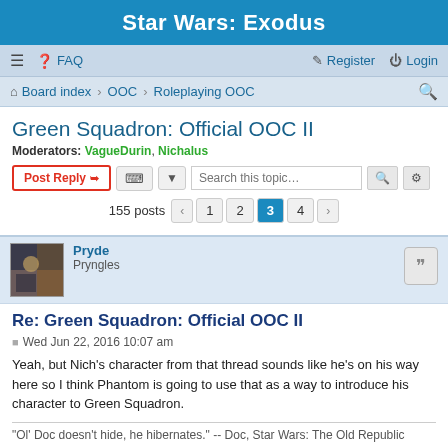Star Wars: Exodus
≡  FAQ    Register  Login
Board index › OOC › Roleplaying OOC
Green Squadron: Official OOC II
Moderators: VagueDurin, Nichalus
Post Reply  [tools]  Search this topic...  155 posts  1  2  3  4  >
Pryde
Pryngles
Re: Green Squadron: Official OOC II
Wed Jun 22, 2016 10:07 am
Yeah, but Nich's character from that thread sounds like he's on his way here so I think Phantom is going to use that as a way to introduce his character to Green Squadron.
"Ol' Doc doesn't hide, he hibernates." -- Doc, Star Wars: The Old Republic